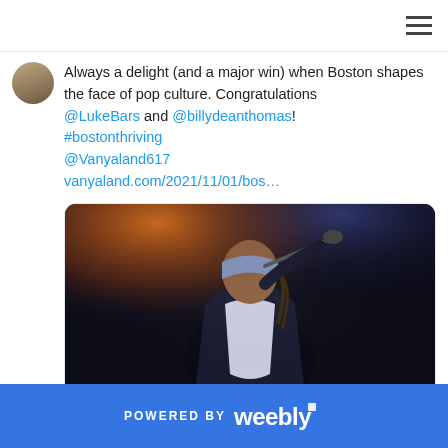Always a delight (and a major win) when Boston shapes the face of pop culture. Congratulations @LukeBars and @billydeanthomas! #bostonthriving @Vanyaland617 vanyaland.com/2021/11/01/bos…
[Figure (photo): Concert photo of a male performer on stage holding a microphone, wearing a bandana on his head and a dark jacket over a white shirt, lit by warm orange-amber stage lighting against a dark background]
vanyaland.com
POWERED BY weebly